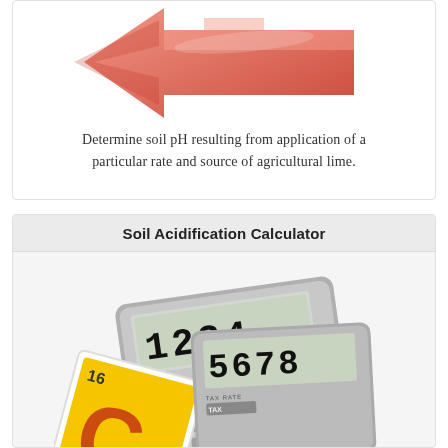[Figure (illustration): Red/salmon colored arrow pointing left, partially cropped at top]
Determine soil pH resulting from application of a particular rate and source of agricultural lime.
Soil Acidification Calculator
[Figure (photo): Clemson Precision Agriculture branded calculator with digital display showing 1234 and 5678, overlaid with a periodic-table style tile showing element C number 16]